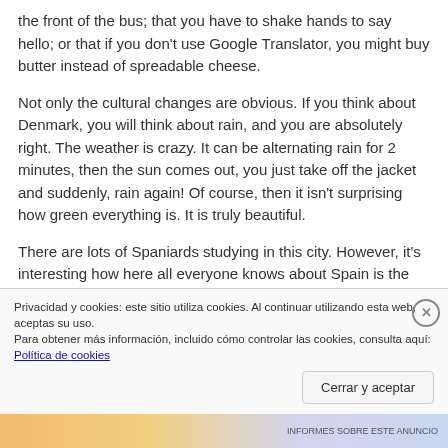the front of the bus; that you have to shake hands to say hello; or that if you don't use Google Translator, you might buy butter instead of spreadable cheese.

Not only the cultural changes are obvious. If you think about Denmark, you will think about rain, and you are absolutely right. The weather is crazy. It can be alternating rain for 2 minutes, then the sun comes out, you just take off the jacket and suddenly, rain again! Of course, then it isn't surprising how green everything is. It is truly beautiful.

There are lots of Spaniards studying in this city. However, it's interesting how here all everyone knows about Spain is the two biggest cities and the beach.
Privacidad y cookies: este sitio utiliza cookies. Al continuar utilizando esta web, aceptas su uso.
Para obtener más información, incluido cómo controlar las cookies, consulta aquí: Política de cookies